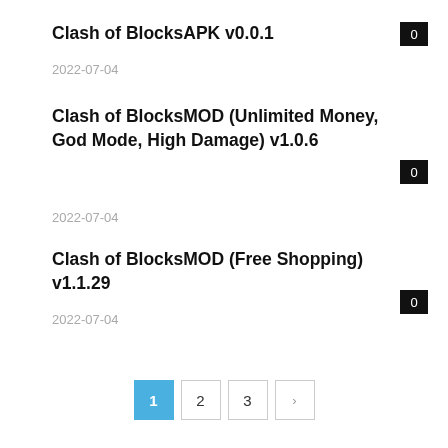Clash of Blocks​APK v0.0.1
2022-07-04
Clash of Blocks​MOD (Unlimited Money, God Mode, High Damage) v1.0.6
2022-07-04
Clash of Blocks​MOD (Free Shopping) v1.1.29
2022-07-04
1
2
3
›